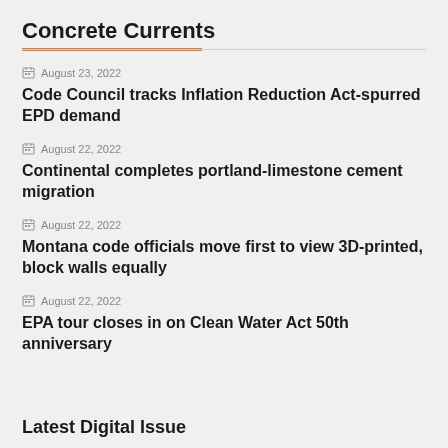Concrete Currents
August 23, 2022
Code Council tracks Inflation Reduction Act-spurred EPD demand
August 22, 2022
Continental completes portland-limestone cement migration
August 22, 2022
Montana code officials move first to view 3D-printed, block walls equally
August 22, 2022
EPA tour closes in on Clean Water Act 50th anniversary
Latest Digital Issue